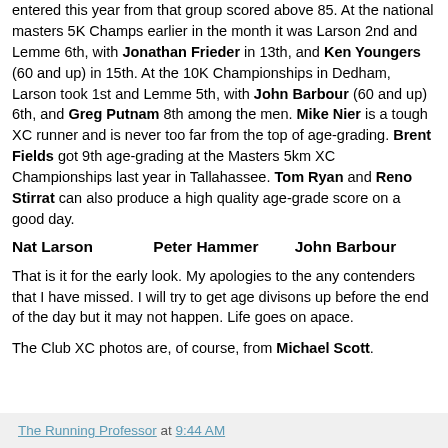entered this year from that group scored above 85. At the national masters 5K Champs earlier in the month it was Larson 2nd and Lemme 6th, with Jonathan Frieder in 13th, and Ken Youngers (60 and up) in 15th. At the 10K Championships in Dedham, Larson took 1st and Lemme 5th, with John Barbour (60 and up) 6th, and Greg Putnam 8th among the men. Mike Nier is a tough XC runner and is never too far from the top of age-grading. Brent Fields got 9th age-grading at the Masters 5km XC Championships last year in Tallahassee. Tom Ryan and Reno Stirrat can also produce a high quality age-grade score on a good day.
Nat Larson   Peter Hammer   John Barbour
That is it for the early look. My apologies to the any contenders that I have missed. I will try to get age divisons up before the end of the day but it may not happen. Life goes on apace.
The Club XC photos are, of course, from Michael Scott.
The Running Professor at 9:44 AM